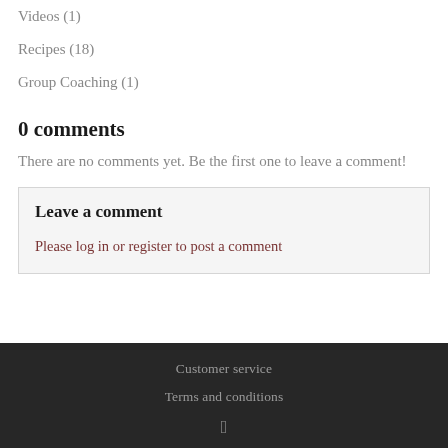Videos (1)
Recipes (18)
Group Coaching (1)
0 comments
There are no comments yet. Be the first one to leave a comment!
Leave a comment
Please log in or register to post a comment
Customer service
Terms and conditions